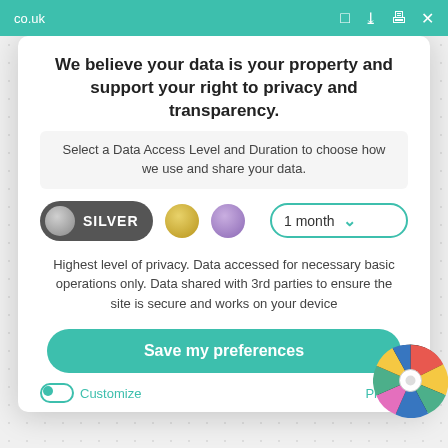co.uk
We believe your data is your property and support your right to privacy and transparency.
Select a Data Access Level and Duration to choose how we use and share your data.
SILVER  [gold circle]  [purple circle]  1 month ▾
Highest level of privacy. Data accessed for necessary basic operations only. Data shared with 3rd parties to ensure the site is secure and works on your device
Save my preferences
Customize
Privacy